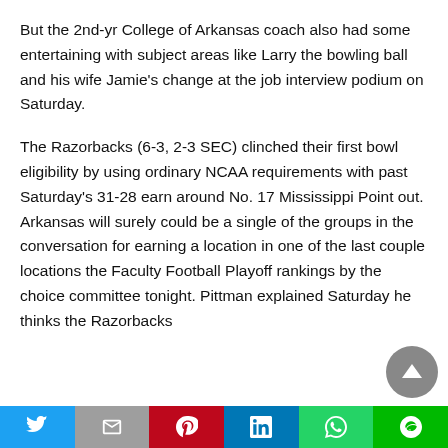But the 2nd-yr College of Arkansas coach also had some entertaining with subject areas like Larry the bowling ball and his wife Jamie's change at the job interview podium on Saturday.
The Razorbacks (6-3, 2-3 SEC) clinched their first bowl eligibility by using ordinary NCAA requirements with past Saturday's 31-28 earn around No. 17 Mississippi Point out. Arkansas will surely could be a single of the groups in the conversation for earning a location in one of the last couple locations the Faculty Football Playoff rankings by the choice committee tonight. Pittman explained Saturday he thinks the Razorbacks